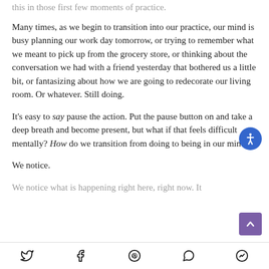this in those first few moments of practice.
Many times, as we begin to transition into our practice, our mind is busy planning our work day tomorrow, or trying to remember what we meant to pick up from the grocery store, or thinking about the conversation we had with a friend yesterday that bothered us a little bit, or fantasizing about how we are going to redecorate our living room. Or whatever. Still doing.
It's easy to say pause the action. Put the pause button on and take a deep breath and become present, but what if that feels difficult mentally? How do we transition from doing to being in our mind?
We notice.
We notice what is happening right here, right now. It